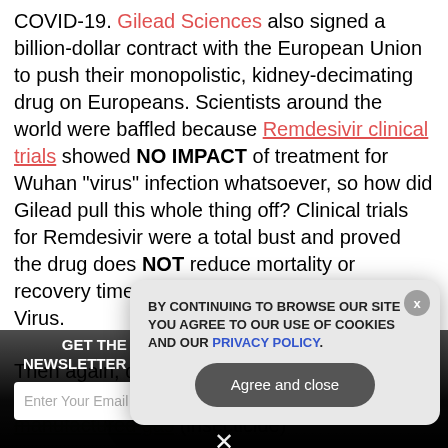COVID-19. Gilead Sciences also signed a billion-dollar contract with the European Union to push their monopolistic, kidney-decimating drug on Europeans. Scientists around the world were baffled because Remdesivir clinical trials showed NO IMPACT of treatment for Wuhan "virus" infection whatsoever, so how did Gilead pull this whole thing off? Clinical trials for Remdesivir were a total bust and proved the drug does NOT reduce mortality or recovery time for people dying from Wuhan Virus.
Then again, do you think there were any clinical trials for Zyklon-B, the IG-Farben-manufactured gas (insecticide)
[Figure (screenshot): Dark overlay with newsletter signup: GET THE WORLD'S #1 INDEPENDENT MEDIA NEWSLETTER DELIVERED STRAIGHT TO YOUR INBOX. Email input field and SUBSCRIBE button, plus a close X button.]
[Figure (screenshot): Cookie consent modal popup with text: BY CONTINUING TO BROWSE OUR SITE YOU AGREE TO OUR USE OF COOKIES AND OUR PRIVACY POLICY. with an Agree and close button and an X close button.]